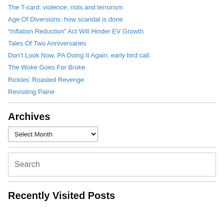The T-card: violence, riots and terrorism
Age Of Diversions: how scandal is done
“Inflation Reduction” Act Will Hinder EV Growth
Tales Of Two Anniversaries
Don’t Look Now, PA Doing It Again: early bird call.
The Woke Goes For Broke
Rickles’ Roasted Revenge
Revisiting Paine
Archives
Select Month
Recently Visited Posts